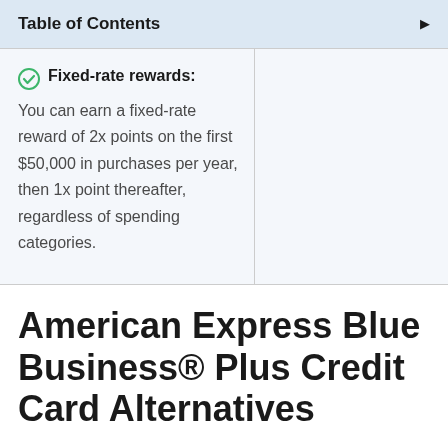Table of Contents
Fixed-rate rewards: You can earn a fixed-rate reward of 2x points on the first $50,000 in purchases per year, then 1x point thereafter, regardless of spending categories.
American Express Blue Business® Plus Credit Card Alternatives
American Express Blue Business Cash™ Card